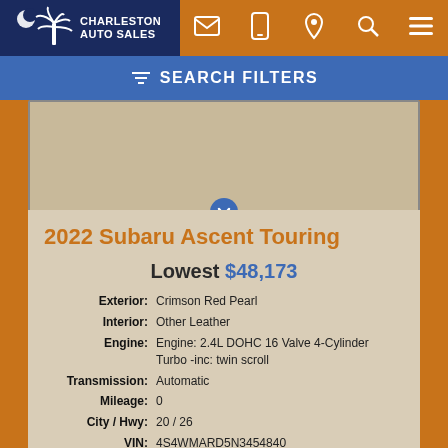Charleston Auto Sales
SEARCH FILTERS
[Figure (photo): Car image placeholder - beige/tan background with no visible car]
2022 Subaru Ascent Touring
Lowest $48,173
| Field | Value |
| --- | --- |
| Exterior: | Crimson Red Pearl |
| Interior: | Other Leather |
| Engine: | Engine: 2.4L DOHC 16 Valve 4-Cylinder Turbo -inc: twin scroll |
| Transmission: | Automatic |
| Mileage: | 0 |
| City / Hwy: | 20 / 26 |
| VIN: | 4S4WMARD5N3454840 |